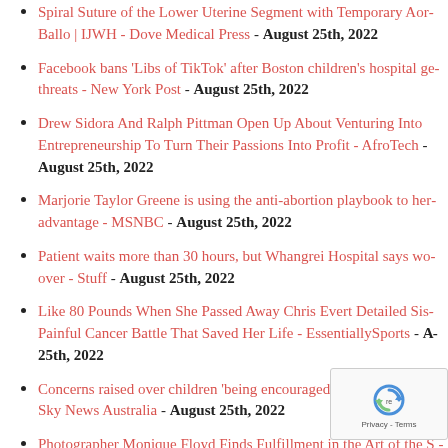Spiral Suture of the Lower Uterine Segment with Temporary Aortie... Ballo | IJWH - Dove Medical Press - August 25th, 2022
Facebook bans 'Libs of TikTok' after Boston children's hospital ge... threats - New York Post - August 25th, 2022
Drew Sidora And Ralph Pittman Open Up About Venturing Into... Entrepreneurship To Turn Their Passions Into Profit - AfroTech - August 25th, 2022
Marjorie Taylor Greene is using the anti-abortion playbook to her... advantage - MSNBC - August 25th, 2022
Patient waits more than 30 hours, but Whangrei Hospital says wo... over - Stuff - August 25th, 2022
Like 80 Pounds When She Passed Away Chris Evert Detailed Sis... Painful Cancer Battle That Saved Her Life - EssentiallySports - August 25th, 2022
Concerns raised over children 'being encouraged to transition too... - Sky News Australia - August 25th, 2022
Photographer Monique Floyd Finds Fulfillment in the Art of the S... - Charlotte magazine - August 9th, 2022
Woman who 'came back from dead' reveals what afte... wants to go back - The Mirror - August 9th, 2022
Climate action must incorporate womens Sexual Reproductive R...